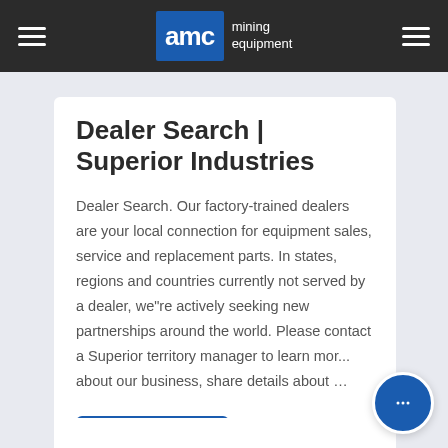AMC mining equipment
Dealer Search | Superior Industries
Dealer Search. Our factory-trained dealers are your local connection for equipment sales, service and replacement parts. In states, regions and countries currently not served by a dealer, we"re actively seeking new partnerships around the world. Please contact a Superior territory manager to learn mor... about our business, share details about ...
CONSULT